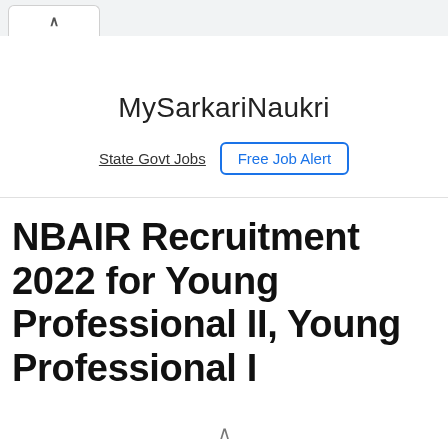MySarkariNaukri
State Govt Jobs | Free Job Alert
NBAIR Recruitment 2022 for Young Professional II, Young Professional I